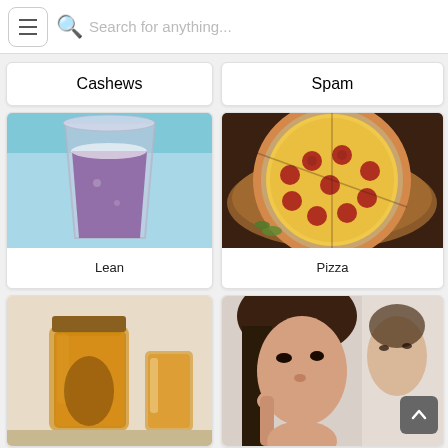[Figure (screenshot): Top navigation bar with hamburger menu, search icon and search placeholder text 'Search for anything...']
Cashews
Spam
[Figure (photo): A plastic cup filled with purple/violet iced drink (lean) against a blue background]
Lean
[Figure (photo): A pepperoni pizza on a wooden board]
Pizza
[Figure (photo): A mason jar and glass filled with amber/honey colored liquid]
[Figure (photo): A young woman looking at her face in a mirror, checking her skin/acne]
[Figure (screenshot): Scroll-to-top button (dark rounded square with up arrow)]